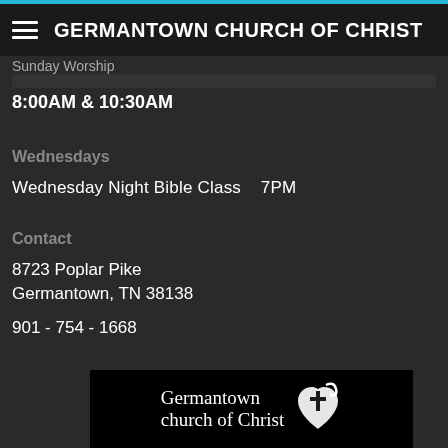9:15AM
GERMANTOWN CHURCH OF CHRIST
Sunday Worship
8:00AM & 10:30AM
Wednesdays
Wednesday Night Bible Class   7PM
Contact
8723 Poplar Pike
Germantown, TN 38138
901 - 754 - 1668
[Figure (logo): Germantown church of Christ logo with heart/cross icon on black background]